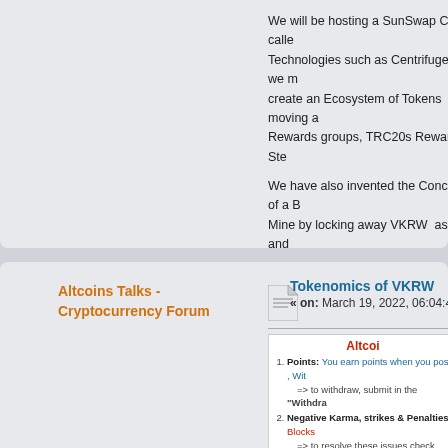We will be hosting a SunSwap Clone called... Technologies such as Centrifuge as we m... create an Ecosystem of Tokens moving a... Rewards groups, TRC20s Rewarding Ste...
We have also invented the Concept of a B... Mine by locking away VKRW as TVL and... Hashrate in relation to all VKRW in the T...
Altcoins Talks - Cryptocurrency Forum
Tokenomics of VKRW
« on: March 19, 2022, 06:04:48 AM »
1. Points: You earn points when you post, Wit... => to withdraw, submit in the "Withdra...
2. Negative Karma, strikes & Penalties: Blocks... => to resolve these issues check Forum c...
3. Click the "Help" button, you will probably...
4. Referral links should be only in > Crypto Pr...
5. Short replies do not increase rank, shitposts...
6. If your english is bad, use the section that c...
7. Do not spam, i will not allow it, neither SEC...
8. Earn Karma by helping moderate the forum...
9. Altt Referral link: for AltcoinsTalks forum is... => When you refer with your link > activ...